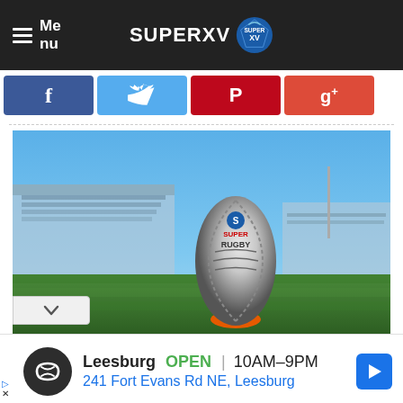Menu | SUPERXV SUPER XV
[Figure (screenshot): Social media share buttons: Facebook (blue), Twitter (light blue), Pinterest (red), Google+ (red-orange)]
[Figure (photo): Rugby ball (Super Rugby branded) standing upright on an orange kicking tee on a grass field, with a stadium in the background under a clear blue sky]
Leesburg OPEN | 10AM–9PM
241 Fort Evans Rd NE, Leesburg